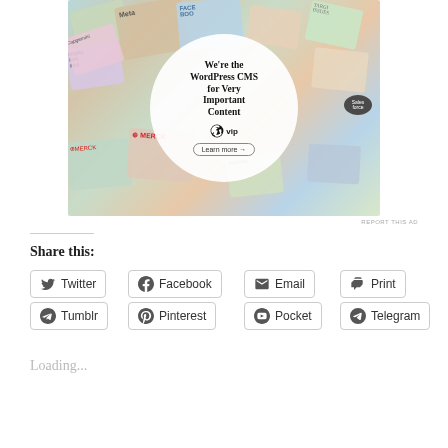[Figure (illustration): WordPress VIP advertisement banner showing a collage of colorful content cards/tiles in the background with logos like Meta, Facebook, Merck, Salesforce, Hachette, Capgemini visible, and a white circle overlay in the center with text 'We're the WordPress CMS for Very Important Content', the WordPress VIP logo, and a 'Learn more →' button]
REPORT THIS AD
Share this:
Twitter
Facebook
Email
Print
Reddit
Tumblr
Pinterest
Pocket
Telegram
Loading...